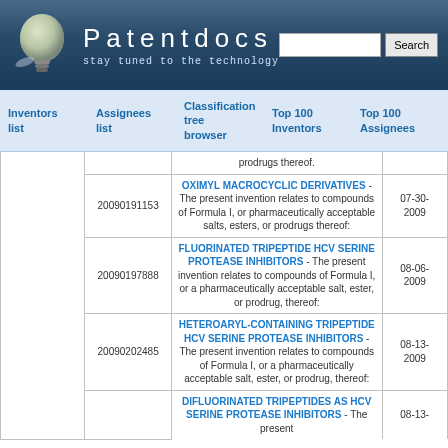[Figure (logo): Patentdocs website header with lightbulb logo, site title 'Patentdocs', subtitle 'stay tuned to the technology', and a search box with Search button]
Inventors list | Assignees list | Classification tree browser | Top 100 Inventors | Top 100 Assignees
|  | Application Number | Description | Date |
| --- | --- | --- | --- |
|  |  | prodrugs thereof. |  |
|  | 20090191153 | OXIMYL MACROCYCLIC DERIVATIVES - The present invention relates to compounds of Formula I, or pharmaceutically acceptable salts, esters, or prodrugs thereof: | 07-30-2009 |
|  | 20090197888 | FLUORINATED TRIPEPTIDE HCV SERINE PROTEASE INHIBITORS - The present invention relates to compounds of Formula I, or a pharmaceutically acceptable salt, ester, or prodrug, thereof: | 08-06-2009 |
|  | 20090202485 | HETEROARYL-CONTAINING TRIPEPTIDE HCV SERINE PROTEASE INHIBITORS - The present invention relates to compounds of Formula I, or a pharmaceutically acceptable salt, ester, or prodrug, thereof: | 08-13-2009 |
|  |  | DIFLUORINATED TRIPEPTIDES AS HCV SERINE PROTEASE INHIBITORS - The present | 08-13- |